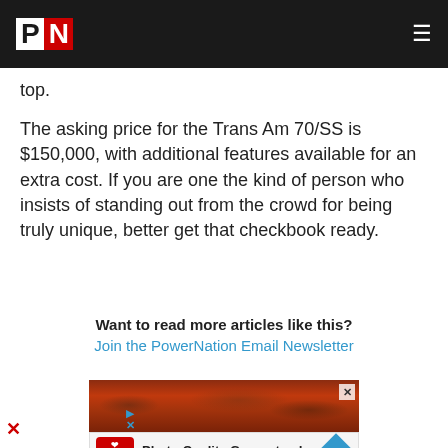PN
top.
The asking price for the Trans Am 70/SS is $150,000, with additional features available for an extra cost. If you are one the kind of person who insists of standing out from the crowd for being truly unique, better get that checkbook ready.
Want to read more articles like this?
Join the PowerNation Email Newsletter
[Figure (photo): Advertisement banner with reddish-brown textured background, close button X in top-right corner. Below: CVS Photo ad with logo, 'Photo Quality Guaranteed' text, and blue arrow icon.]